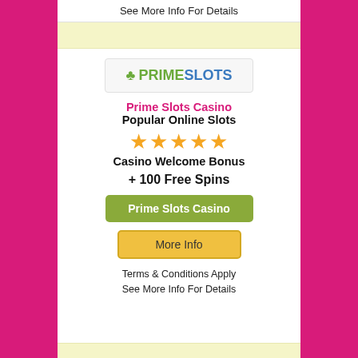See More Info For Details
[Figure (logo): Prime Slots Casino logo with green clover icon, green PRIME and blue SLOTS text]
Prime Slots Casino
Popular Online Slots
[Figure (other): Five gold star rating]
Casino Welcome Bonus
+ 100 Free Spins
Prime Slots Casino
More Info
Terms & Conditions Apply
See More Info For Details